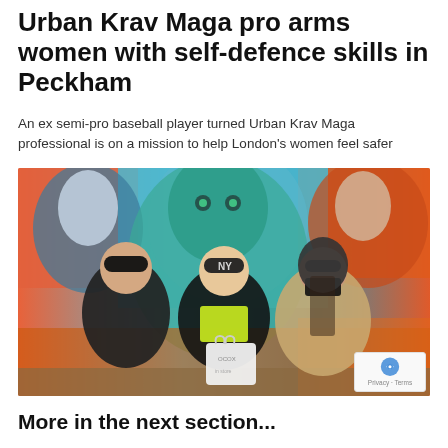Urban Krav Maga pro arms women with self-defence skills in Peckham
An ex semi-pro baseball player turned Urban Krav Maga professional is on a mission to help London's women feel safer
[Figure (photo): Three women standing in front of a colourful street art mural in Peckham. The woman on the left wears a black hat and jacket, the woman in the middle wears a yellow hi-vis vest and NY baseball cap and holds a white tote bag, and the woman on the right wears a beige coat and black face mask.]
More in the next section...